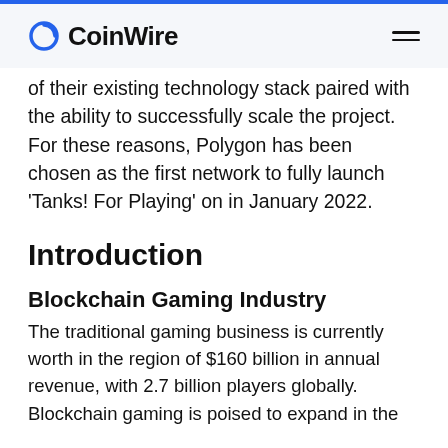CoinWire
of their existing technology stack paired with the ability to successfully scale the project. For these reasons, Polygon has been chosen as the first network to fully launch ‘Tanks! For Playing’ on in January 2022.
Introduction
Blockchain Gaming Industry
The traditional gaming business is currently worth in the region of $160 billion in annual revenue, with 2.7 billion players globally. Blockchain gaming is poised to expand in the